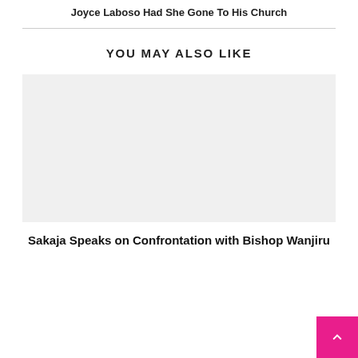Joyce Laboso Had She Gone To His Church
YOU MAY ALSO LIKE
[Figure (photo): Placeholder image (light gray rectangle) for a related article thumbnail]
Sakaja Speaks on Confrontation with Bishop Wanjiru